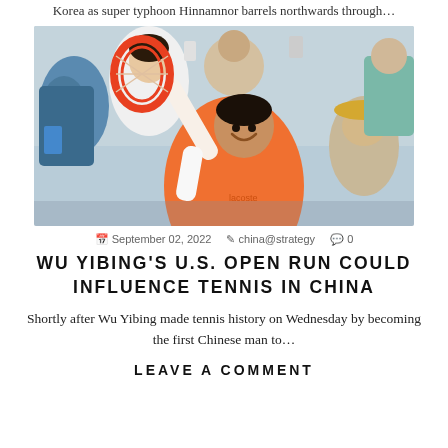Korea as super typhoon Hinnamnor barrels northwards through…
[Figure (photo): Wu Yibing, a Chinese tennis player in an orange shirt, raising his racket to the crowd after winning a match at the U.S. Open, with spectators cheering in the background.]
September 02, 2022  china@strategy  0
WU YIBING'S U.S. OPEN RUN COULD INFLUENCE TENNIS IN CHINA
Shortly after Wu Yibing made tennis history on Wednesday by becoming the first Chinese man to…
LEAVE A COMMENT